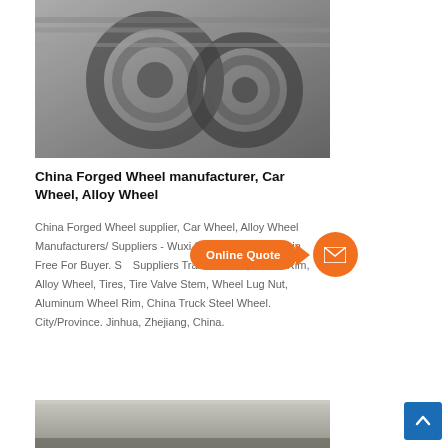[Figure (photo): Coiled steel wire / spring coils stacked on a factory floor]
China Forged Wheel manufacturer, Car Wheel, Alloy Wheel
China Forged Wheel supplier, Car Wheel, Alloy Wheel Manufacturers/ Suppliers - Wuxi So... Ltd. Sign In. Join Free For Buyer. S... Suppliers Trailer Wheel, Wheel Rim, Alloy Wheel, Tires, Tire Valve Stem, Wheel Lug Nut, Aluminum Wheel Rim, China Truck Steel Wheel. City/Province. Jinhua, Zhejiang, China.
[Figure (photo): Steel plate / sheet metal on a factory floor]